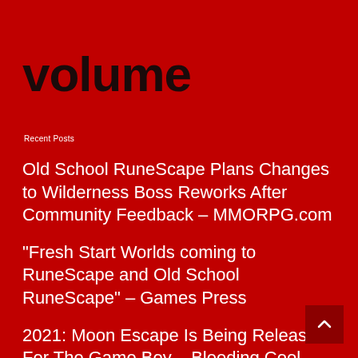volume
Recent Posts
Old School RuneScape Plans Changes to Wilderness Boss Reworks After Community Feedback – MMORPG.com
"Fresh Start Worlds coming to RuneScape and Old School RuneScape" – Games Press
2021: Moon Escape Is Being Released For The Game Boy – Bleeding Cool News